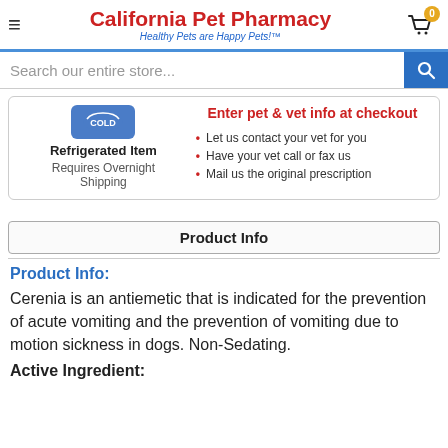California Pet Pharmacy – Healthy Pets are Happy Pets!™
Search our entire store...
Refrigerated item
Requires Overnight Shipping
Enter pet & vet info at checkout
Let us contact your vet for you
Have your vet call or fax us
Mail us the original prescription
Product Info
Product Info:
Cerenia is an antiemetic that is indicated for the prevention of acute vomiting and the prevention of vomiting due to motion sickness in dogs. Non-Sedating.
Active Ingredient: